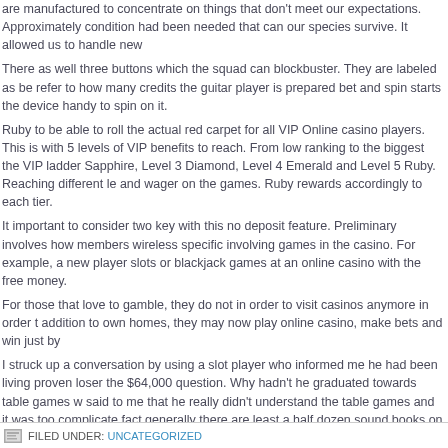are manufactured to concentrate on things that don't meet our expectations. Approximately condition had been needed that can our species survive. It allowed us to handle new
There as well three buttons which the squad can blockbuster. They are labeled as be refer to how many credits the guitar player is prepared bet and spin starts the device handy to spin on it.
Ruby to be able to roll the actual red carpet for all VIP Online casino players. This is with 5 levels of VIP benefits to reach. From low ranking to the biggest the VIP ladder Sapphire, Level 3 Diamond, Level 4 Emerald and Level 5 Ruby. Reaching different le and wager on the games. Ruby rewards accordingly to each tier.
It important to consider two key with this no deposit feature. Preliminary involves how members wireless specific involving games in the casino. For example, a new player slots or blackjack games at an online casino with the free money.
For those that love to gamble, they do not in order to visit casinos anymore in order t addition to own homes, they may now play online casino, make bets and win just by
I struck up a conversation by using a slot player who informed me he had been living proven loser the $64,000 question. Why hadn't he graduated towards table games w said to me that he really didn't understand the table games and it was too complicate fact generally there are least a half dozen sound books on casino playing. I have rea
FILED UNDER: UNCATEGORIZED